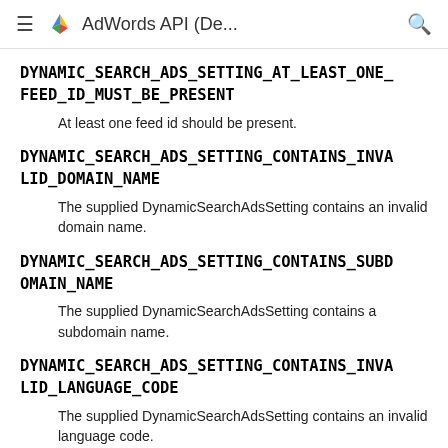AdWords API (De...
DYNAMIC_SEARCH_ADS_SETTING_AT_LEAST_ONE_FEED_ID_MUST_BE_PRESENT
At least one feed id should be present.
DYNAMIC_SEARCH_ADS_SETTING_CONTAINS_INVALID_DOMAIN_NAME
The supplied DynamicSearchAdsSetting contains an invalid domain name.
DYNAMIC_SEARCH_ADS_SETTING_CONTAINS_SUBDOMAIN_NAME
The supplied DynamicSearchAdsSetting contains a subdomain name.
DYNAMIC_SEARCH_ADS_SETTING_CONTAINS_INVALID_LANGUAGE_CODE
The supplied DynamicSearchAdsSetting contains an invalid language code.